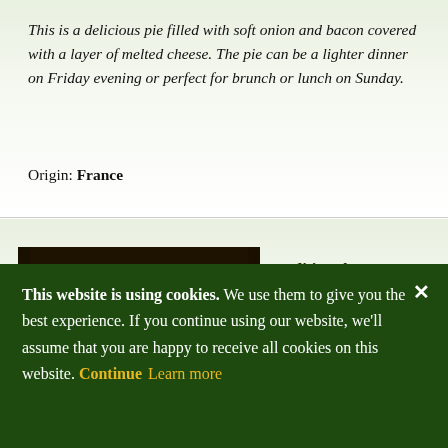This is a delicious pie filled with soft onion and bacon covered with a layer of melted cheese. The pie can be a lighter dinner on Friday evening or perfect for brunch or lunch on Sunday.
Origin: France
[Figure (photo): Photo of a traditional Tarte Flambée being cooked in a wood-fired oven, showing glowing orange fire embers at the bottom of a dark stone oven]
Traditional Tarte Flambée In Wood-…
★★★★★ 3 Reviews.
This website is using cookies. We use them to give you the best experience. If you continue using our website, we'll assume that you are happy to receive all cookies on this website. Continue  Learn more